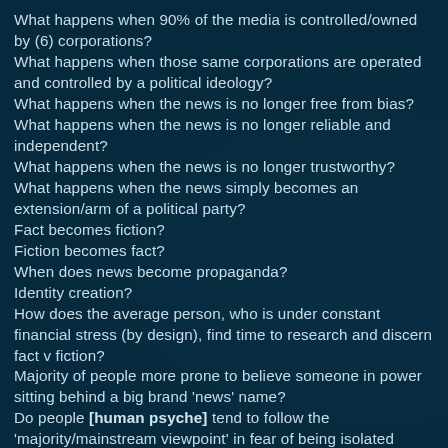What happens when 90% of the media is controlled/owned by (6) corporations?
What happens when those same corporations are operated and controlled by a political ideology?
What happens when the news is no longer free from bias?
What happens when the news is no longer reliable and independent?
What happens when the news is no longer trustworthy?
What happens when the news simply becomes an extension/arm of a political party?
Fact becomes fiction?
Fiction becomes fact?
When does news become propaganda?
Identity creation?
How does the average person, who is under constant financial stress (by design), find time to research and discern fact v fiction?
Majority of people more prone to believe someone in power sitting behind a big brand 'news' name?
Do people [human psyche] tend to follow the 'majority/mainstream viewpoint' in fear of being isolated